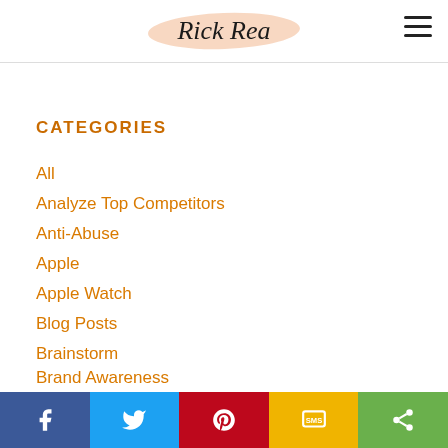Rick Rea
CATEGORIES
All
Analyze Top Competitors
Anti-Abuse
Apple
Apple Watch
Blog Posts
Brainstorm
Brand Awareness
Communications
Content Marketing
Share buttons: Facebook, Twitter, Pinterest, SMS, Share